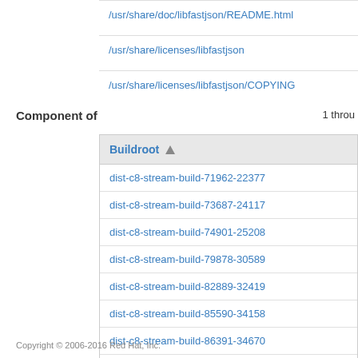/usr/share/doc/libfastjson/README.html
/usr/share/licenses/libfastjson
/usr/share/licenses/libfastjson/COPYING
Component of
1 throu
| Buildroot ▲ |
| --- |
| dist-c8-stream-build-71962-22377 |
| dist-c8-stream-build-73687-24117 |
| dist-c8-stream-build-74901-25208 |
| dist-c8-stream-build-79878-30589 |
| dist-c8-stream-build-82889-32419 |
| dist-c8-stream-build-85590-34158 |
| dist-c8-stream-build-86391-34670 |
| dist-c8-stream-build-88024-35539 |
Copyright © 2006-2016 Red Hat, Inc.